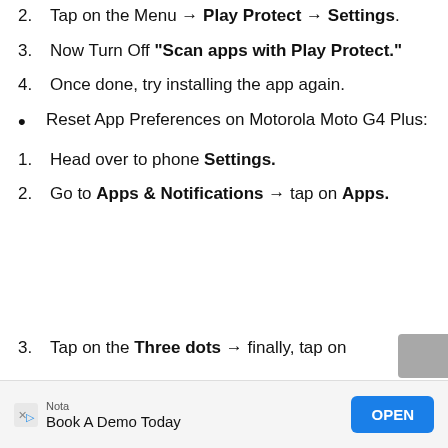2. Tap on the Menu → Play Protect → Settings.
3. Now Turn Off "Scan apps with Play Protect."
4. Once done, try installing the app again.
• Reset App Preferences on Motorola Moto G4 Plus:
1. Head over to phone Settings.
2. Go to Apps & Notifications → tap on Apps.
3. Tap on the Three dots → finally, tap on